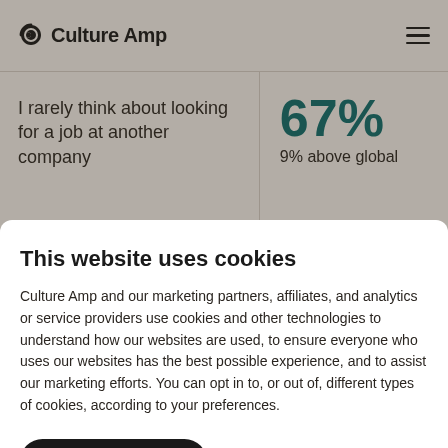Culture Amp
I rarely think about looking for a job at another company
67% — 9% above global
This website uses cookies
Culture Amp and our marketing partners, affiliates, and analytics or service providers use cookies and other technologies to understand how our websites are used, to ensure everyone who uses our websites has the best possible experience, and to assist our marketing efforts. You can opt in to, or out of, different types of cookies, according to your preferences.
Accept all cookies
Manage preferences